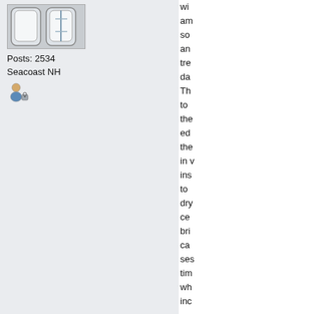[Figure (illustration): User avatar image showing a cartoon/icon figure with white and gray colors, displayed in a small rectangular box]
Posts: 2534
Seacoast NH
[Figure (icon): Small user/member icon with a person figure and a lock or badge symbol]
wi
am
so
an
tre
da
Th
to
the
ed
the
in 
ins
to
dry
ce
bri
ca
se
tim
wh
inc

Ho
at 
bri